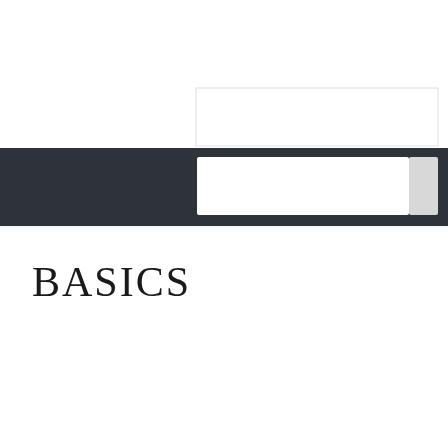[Figure (screenshot): A dark navigation bar with a white search input box on the right side, and a white rectangle visible above the bar. The bar spans the full width of the page.]
BASICS